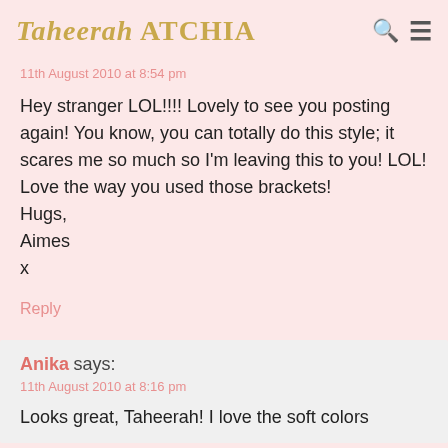Taheerah ATCHIA
11th August 2010 at 8:54 pm
Hey stranger LOL!!!! Lovely to see you posting again! You know, you can totally do this style; it scares me so much so I'm leaving this to you! LOL!
Love the way you used those brackets!
Hugs,
Aimes
x
Reply
Anika says:
11th August 2010 at 8:16 pm
Looks great, Taheerah! I love the soft colors